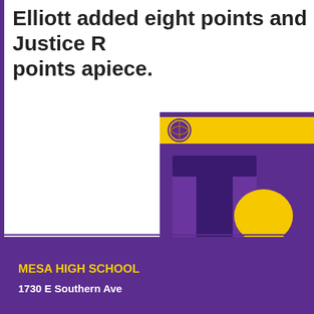Elliott added eight points and Justice R... points apiece.
[Figure (logo): Mesa High School basketball logo — partial view showing purple letter, yellow basketball with claw, 'BAS' text banner, on yellow and purple background]
MESA HIGH SCHOOL
1730 E Southern Ave